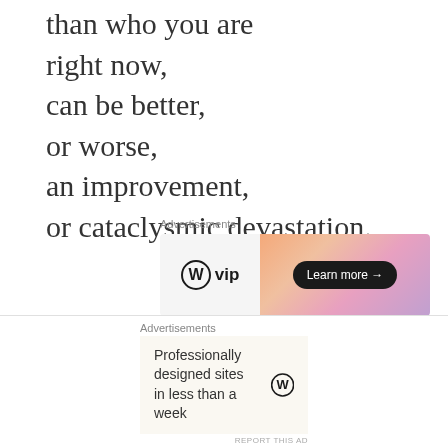than who you are
right now,
can be better,
or worse,
an improvement,
or cataclysmic devastation.
Advertisements
[Figure (screenshot): WordPress VIP advertisement banner with gradient orange-pink background and 'Learn more →' button]
Who decides if
you will be other
than who you are?
Advertisements
[Figure (screenshot): WordPress advertisement: 'Professionally designed sites in less than a week' with WordPress logo]